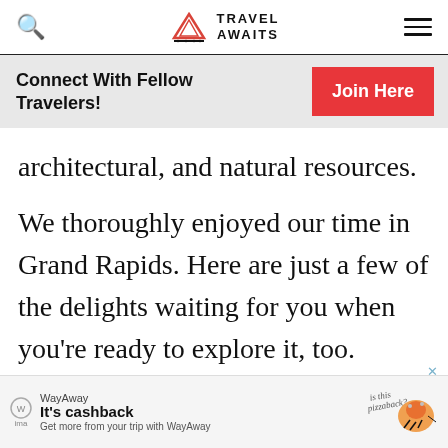Travel Awaits
Connect With Fellow Travelers!
architectural, and natural resources.
We thoroughly enjoyed our time in Grand Rapids. Here are just a few of the delights waiting for you when you're ready to explore it, too.
[Figure (screenshot): WayAway advertisement banner: logo, 'It's cashback', 'Get more from your trip with WayAway', pizza hedgehog illustration, close button]